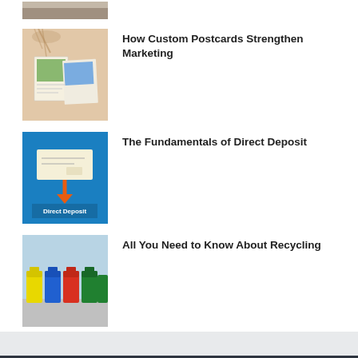[Figure (photo): Partial thumbnail of first article at top, cropped]
[Figure (photo): Photo of custom postcards pinned on a pinkish wall with plant shadow]
How Custom Postcards Strengthen Marketing
[Figure (photo): Direct Deposit infographic image with blue background, check and orange arrow]
The Fundamentals of Direct Deposit
[Figure (photo): Photo of colorful recycling bins (yellow, blue, red, green) against a blue wall]
All You Need to Know About Recycling
POPULAR POSTS
[Figure (photo): Thumbnail for What Is Online Marketing article]
WHAT IS ONLINE MARKETING?